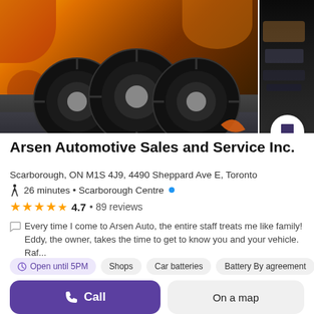[Figure (photo): Hero image showing three car tires stacked against an autumn background with orange/red fall foliage. A partial second image of a car interior is visible on the right edge. A bookmark icon button overlaps the bottom-right corner of the image.]
Arsen Automotive Sales and Service Inc.
Scarborough, ON M1S 4J9, 4490 Sheppard Ave E, Toronto
26 minutes • Scarborough Centre
★★★★½ 4.7 • 89 reviews
Every time I come to Arsen Auto, the entire staff treats me like family! Eddy, the owner, takes the time to get to know you and your vehicle. Raf...
Open until 5PM  Shops  Car batteries  Battery By agreement
Call  On a map